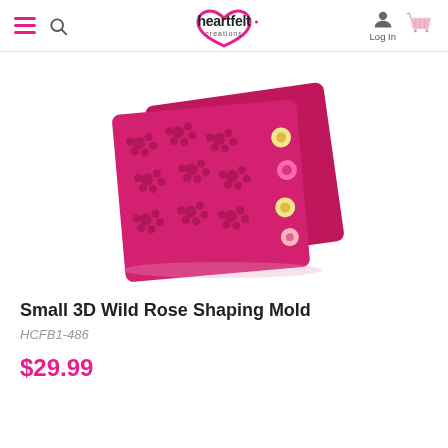Heartfelt Creations — navigation header with hamburger menu, search, logo, Log In, and cart
[Figure (photo): Product photo of Small 3D Wild Rose Shaping Mold — two stacked hot-pink/magenta rectangular silicone molds with embossed flower patterns, showing colorful paper flowers along the side edge.]
Small 3D Wild Rose Shaping Mold
HCFB1-486
$29.99